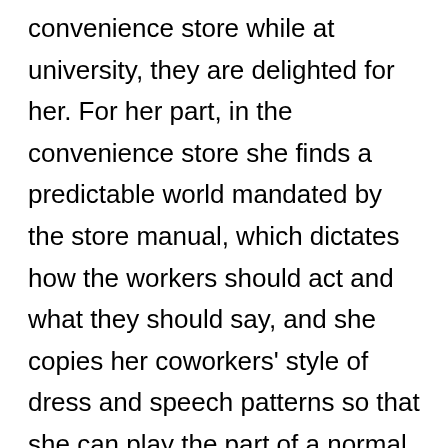convenience store while at university, they are delighted for her. For her part, in the convenience store she finds a predictable world mandated by the store manual, which dictates how the workers should act and what they should say, and she copies her coworkers' style of dress and speech patterns so that she can play the part of a normal person. However, eighteen years later, at age 36, she is still in the same job, has never had a boyfriend, and has only few friends. She feels comfortable in her life, but is aware that she is not living up to society's expectations and causing her family to worry about her. When a similarly alienated but cynical and bitter young man comes to work in the store, he will upset Keiko's contented stasis—but will it be for the better?
Sayaka Murata brilliantly captures the atmosphere of the familiar convenience store that is now a locus of life in...